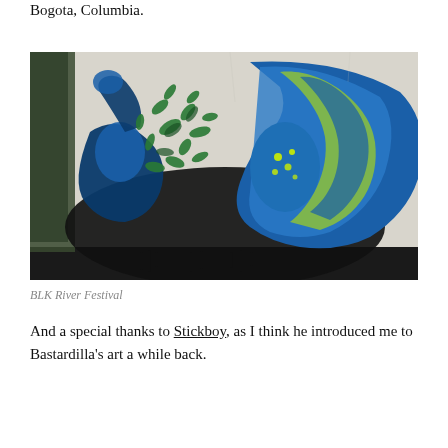Bogota, Columbia.
[Figure (photo): Street mural photo from BLK River Festival showing a large graffiti artwork of a figure with flowing blue and yellow-green hair and leaves, painted on a wall in Bogota, Columbia.]
BLK River Festival
And a special thanks to Stickboy, as I think he introduced me to Bastardilla's art a while back.